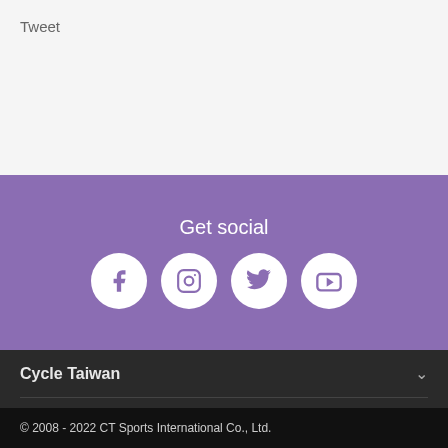Tweet
Get social
[Figure (infographic): Four social media icons: Facebook, Instagram, Twitter, YouTube — white circles on purple background]
Cycle Taiwan
Customer Service
11F. No. 178, Section 1, Keelung Road, Taipei, Taiwan 110
9 am — 6 pm(GMT+8)
Monday - Friday
service@cycletaiwan.com
© 2008 - 2022 CT Sports International Co., Ltd.